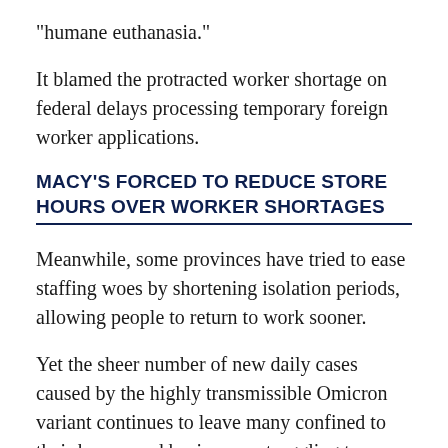"humane euthanasia."
It blamed the protracted worker shortage on federal delays processing temporary foreign worker applications.
MACY'S FORCED TO REDUCE STORE HOURS OVER WORKER SHORTAGES
Meanwhile, some provinces have tried to ease staffing woes by shortening isolation periods, allowing people to return to work sooner.
Yet the sheer number of new daily cases caused by the highly transmissible Omicron variant continues to leave many confined to their homes and businesses struggling to remain open.